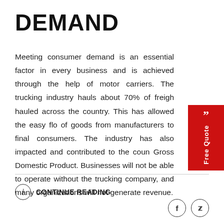DEMAND
Meeting consumer demand is an essential factor in every business and is achieved through the help of motor carriers. The trucking industry hauls about 70% of freight hauled across the country. This has allowed the easy flow of goods from manufacturers to final consumers. The industry has also impacted and contributed to the country's Gross Domestic Product. Businesses will not be able to operate without the trucking company, and many organizations will not generate revenue.
CONTINUE READING